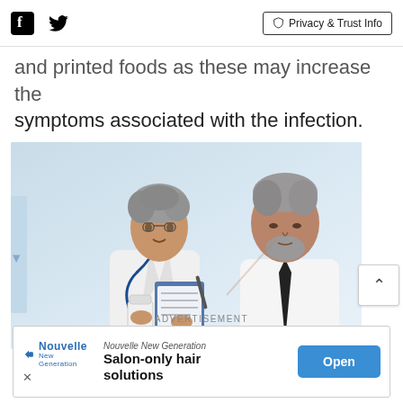Facebook | Twitter | Privacy & Trust Info
and printed foods as these may increase the symptoms associated with the infection.
[Figure (photo): A female doctor in a white coat with a stethoscope showing a clipboard and medication bottle to a male patient.]
ADVERTISEMENT
Nouvelle New Generation Salon-only hair solutions | Open